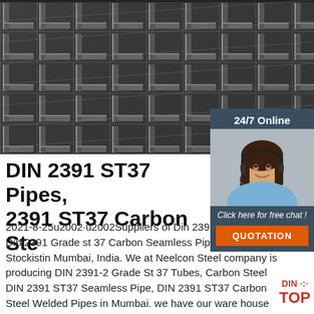[Figure (photo): Stack of steel angle bars/profiles viewed from the end, showing L-shaped cross-sections arranged in rows, dark gray metallic color]
[Figure (photo): 24/7 Online customer service agent – woman with headset smiling, with dark blue sidebar panel showing 'Click here for free chat!' and orange QUOTATION button]
DIN 2391 ST37 Pipes, 2391 ST37 Carbon Ste
2021-8-25u2002·u2002Suppliers of Din 2391 ST37 Pipes, Din 2391 Grade st 37 Carbon Seamless Pipe And Tube Stockistin Mumbai, India. We at Neelcon Steel company is producing DIN 2391-2 Grade St 37 Tubes, Carbon Steel DIN 2391 ST37 Seamless Pipe, DIN 2391 ST37 Carbon Steel Welded Pipes in Mumbai. we have our ware house in Thane district and factory in